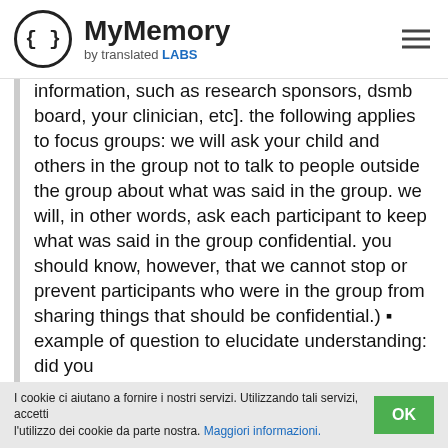[Figure (logo): MyMemory logo with curly braces in circle and text 'MyMemory by translated LABS']
information, such as research sponsors, dsmb board, your clinician, etc]. the following applies to focus groups: we will ask your child and others in the group not to talk to people outside the group about what was said in the group. we will, in other words, ask each participant to keep what was said in the group confidential. you should know, however, that we cannot stop or prevent participants who were in the group from sharing things that should be confidential.) ▪ example of question to elucidate understanding: did you
I cookie ci aiutano a fornire i nostri servizi. Utilizzando tali servizi, accetti l'utilizzo dei cookie da parte nostra. Maggiori informazioni.